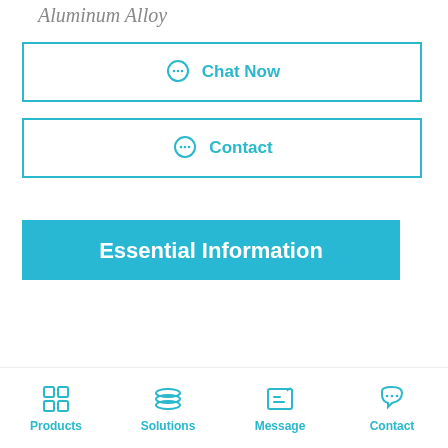Aluminum Alloy
Chat Now
Contact
Essential Information
|  |  |
| --- | --- |
| Product Name | MEGA Sharing Bed (Three Functions Manual) |
| Model | JDCMY-SQ141A/JDCMY- |